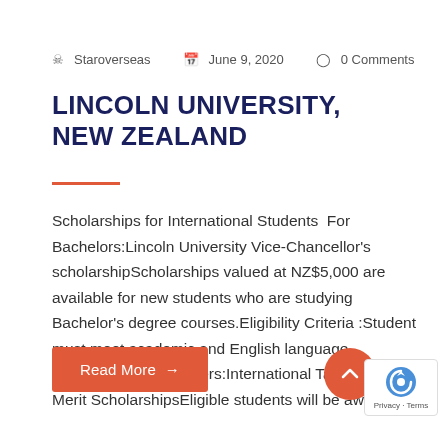Staroverseas  June 9, 2020  0 Comments
LINCOLN UNIVERSITY, NEW ZEALAND
Scholarships for International Students  For Bachelors:Lincoln University Vice-Chancellor's scholarshipScholarships valued at NZ$5,000 are available for new students who are studying Bachelor's degree courses.Eligibility Criteria :Student must meet academic and English language requirement.For Masters:International Taught Master Merit ScholarshipsEligible students will be awarded a
Read More →